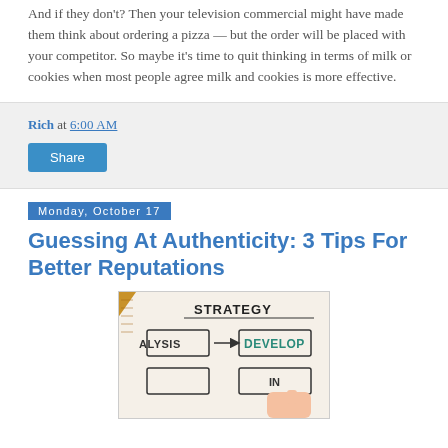And if they don't? Then your television commercial might have made them think about ordering a pizza — but the order will be placed with your competitor. So maybe it's time to quit thinking in terms of milk or cookies when most people agree milk and cookies is more effective.
Rich at 6:00 AM
Share
Monday, October 17
Guessing At Authenticity: 3 Tips For Better Reputations
[Figure (photo): A hand pointing at a flowchart/strategy diagram on paper with a ruler, showing boxes labeled STRATEGY, DEVELOP, ANALYSIS, and other planning elements written in marker.]